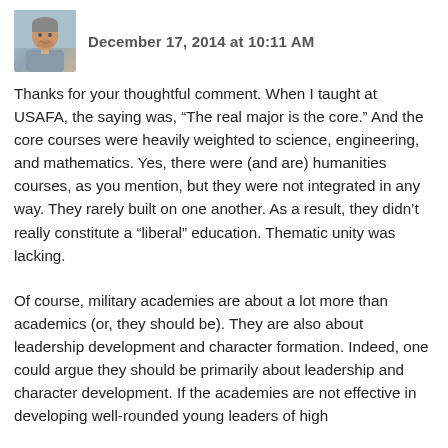December 17, 2014 at 10:11 AM
Thanks for your thoughtful comment. When I taught at USAFA, the saying was, “The real major is the core.” And the core courses were heavily weighted to science, engineering, and mathematics. Yes, there were (and are) humanities courses, as you mention, but they were not integrated in any way. They rarely built on one another. As a result, they didn’t really constitute a “liberal” education. Thematic unity was lacking.
Of course, military academies are about a lot more than academics (or, they should be). They are also about leadership development and character formation. Indeed, one could argue they should be primarily about leadership and character development. If the academies are not effective in developing well-rounded young leaders of high